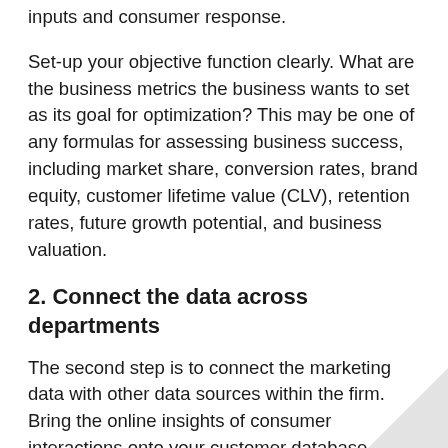inputs and consumer response.
Set-up your objective function clearly. What are the business metrics the business wants to set as its goal for optimization? This may be one of any formulas for assessing business success, including market share, conversion rates, brand equity, customer lifetime value (CLV), retention rates, future growth potential, and business valuation.
2. Connect the data across departments
The second step is to connect the marketing data with other data sources within the firm. Bring the online insights of consumer interactions onto your customer database.
The value of connecting marketing data with sales